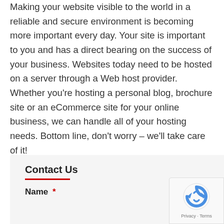Making your website visible to the world in a reliable and secure environment is becoming more important every day. Your site is important to you and has a direct bearing on the success of your business. Websites today need to be hosted on a server through a Web host provider. Whether you're hosting a personal blog, brochure site or an eCommerce site for your online business, we can handle all of your hosting needs. Bottom line, don't worry – we'll take care of it!
Contact Us
Name *